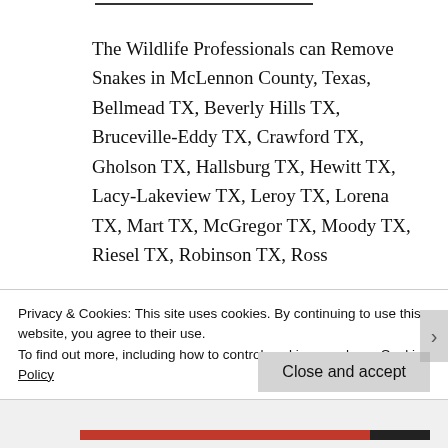The Wildlife Professionals can Remove Snakes in McLennon County, Texas, Bellmead TX, Beverly Hills TX, Bruceville-Eddy TX, Crawford TX, Gholson TX, Hallsburg TX, Hewitt TX, Lacy-Lakeview TX, Leroy TX, Lorena TX, Mart TX, McGregor TX, Moody TX, Riesel TX, Robinson TX, Ross
Privacy & Cookies: This site uses cookies. By continuing to use this website, you agree to their use.
To find out more, including how to control cookies, see here: Cookie Policy